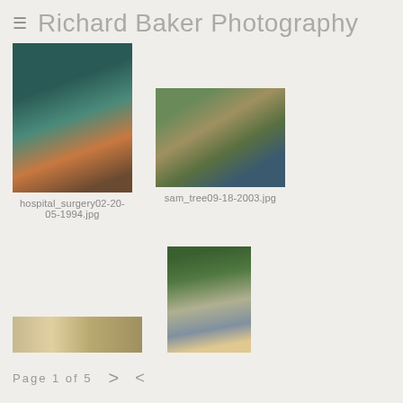≡  Richard Baker Photography
[Figure (photo): Hospital surgery scene with surgeons in green scrubs operating on a patient]
hospital_surgery02-20-05-1994.jpg
[Figure (photo): A cyclist riding past a fallen tree on a path next to a blue metal fence]
sam_tree09-18-2003.jpg
[Figure (photo): Partial view of a hospital corridor with beds]
[Figure (photo): A man with a yellow guide dog walking along a path surrounded by greenery]
Page  1  of  5   >   <